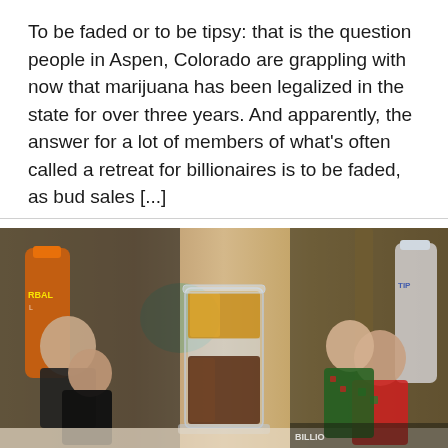To be faded or to be tipsy: that is the question people in Aspen, Colorado are grappling with now that marijuana has been legalized in the state for over three years. And apparently, the answer for a lot of members of what's often called a retreat for billionaires is to be faded, as bud sales [...]
[Figure (photo): A layered cocktail shot glass in the center with amber liquid on top and brown liquid on bottom, set on a bar counter. On the left side are two men in black clothing (actors), with a Fireball whisky bottle visible. On the right side are two men in Christmas sweaters hugging, with liquor bottles in the background.]